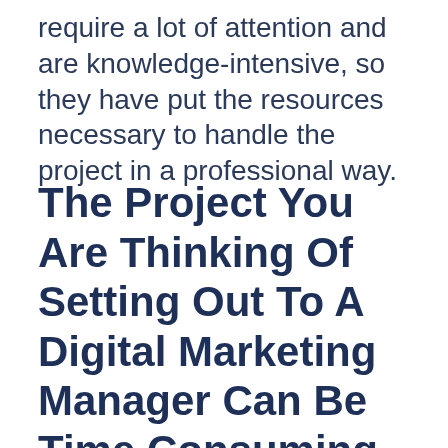require a lot of attention and are knowledge-intensive, so they have put the resources necessary to handle the project in a professional way.
The Project You Are Thinking Of Setting Out To A Digital Marketing Manager Can Be Time Consuming And Difficult To Learn, But It Can Be Well Worth The Time